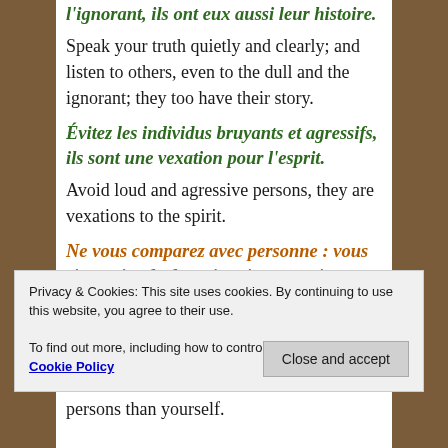l'ignorant, ils ont eux aussi leur histoire. (French italic bold, green, top partial)
Speak your truth quietly and clearly; and listen to others, even to the dull and the ignorant; they too have their story.
Évitez les individus bruyants et agressifs, ils sont une vexation pour l'esprit. (French italic bold green)
Avoid loud and agressive persons, they are vexations to the spirit.
Ne vous comparez avec personne : vous risqueriez de devenir vain ou vaniteux. (French italic bold orange)
If... (partial, cut off by cookie notice)
Privacy & Cookies: This site uses cookies. By continuing to use this website, you agree to their use. To find out more, including how to control cookies, see here: Cookie Policy
Close and accept
persons than yourself.